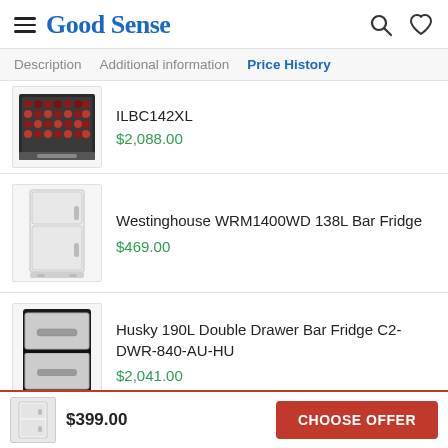Good Sense
Description  Additional information  Price History
ILBC142XL
$2,088.00
Westinghouse WRM1400WD 138L Bar Fridge
$469.00
Husky 190L Double Drawer Bar Fridge C2-DWR-840-AU-HU
$2,041.00
$399.00  CHOOSE OFFER